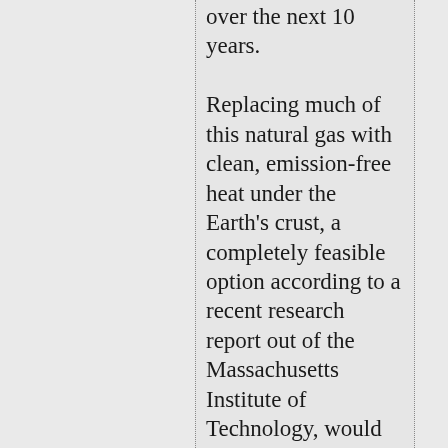over the next 10 years.

Replacing much of this natural gas with clean, emission-free heat under the Earth's crust, a completely feasible option according to a recent research report out of the Massachusetts Institute of Technology, would go an enormous way toward achieving a